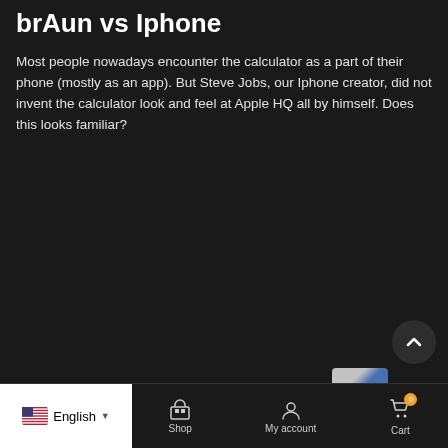brAun vs Iphone
Most people nowadays encounter the calculator as a part of their phone (mostly as an app). But Steve Jobs, our Iphone creator, did not invent the calculator look and feel at Apple HQ all by himself. Does this looks familiar?
[Figure (screenshot): iPhone calculator app screenshot showing display with 123.456, and top row of buttons: C, +/-, %, ÷ (orange), and second row: 7, 8, 9, × (orange)]
English  |  Shop  |  My account  |  Cart (0)